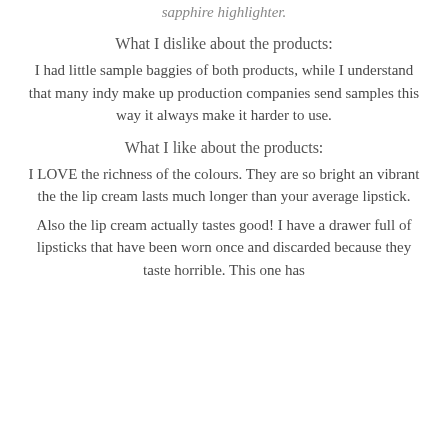sapphire highlighter.
What I dislike about the products:
I had little sample baggies of both products, while I understand that many indy make up production companies send samples this way it always make it harder to use.
What I like about the products:
I LOVE the richness of the colours. They are so bright an vibrant the the lip cream lasts much longer than your average lipstick.
Also the lip cream actually tastes good! I have a drawer full of lipsticks that have been worn once and discarded because they taste horrible. This one has